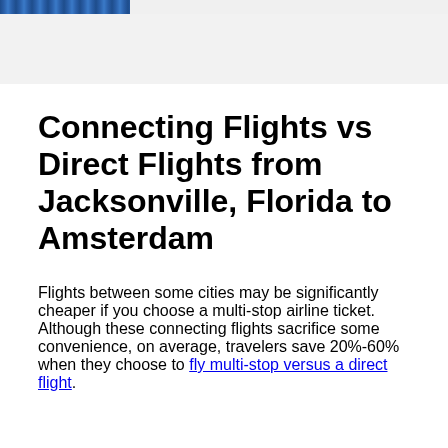Connecting Flights vs Direct Flights from Jacksonville, Florida to Amsterdam
Flights between some cities may be significantly cheaper if you choose a multi-stop airline ticket. Although these connecting flights sacrifice some convenience, on average, travelers save 20%-60% when they choose to fly multi-stop versus a direct flight.